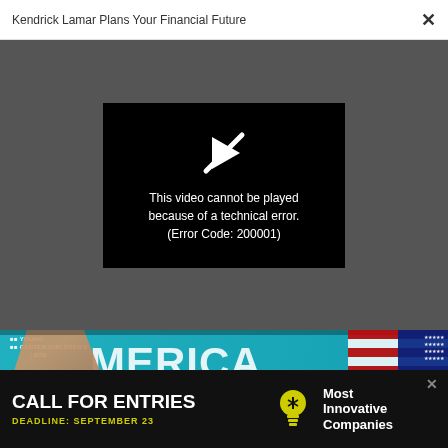Kendrick Lamar Plans Your Financial Future
[Figure (screenshot): Video player error screen showing a play button with a diagonal slash through it and text: 'This video cannot be played because of a technical error. (Error Code: 200001)']
[Figure (photo): Photograph showing a hand raised against a teal banner reading 'AMERICA BEAUTIFUL' with a Young Children's Center logo, and an American flag visible on the right.]
CALL FOR ENTRIES DEADLINE: SEPTEMBER 23 Most Innovative Companies